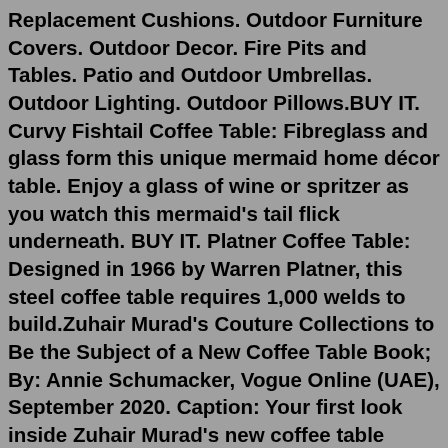Replacement Cushions. Outdoor Furniture Covers. Outdoor Decor. Fire Pits and Tables. Patio and Outdoor Umbrellas. Outdoor Lighting. Outdoor Pillows.BUY IT. Curvy Fishtail Coffee Table: Fibreglass and glass form this unique mermaid home décor table. Enjoy a glass of wine or spritzer as you watch this mermaid's tail flick underneath. BUY IT. Platner Coffee Table: Designed in 1966 by Warren Platner, this steel coffee table requires 1,000 welds to build.Zuhair Murad's Couture Collections to Be the Subject of a New Coffee Table Book; By: Annie Schumacker, Vogue Online (UAE), September 2020. Caption: Your first look inside Zuhair Murad's new coffee table book; By: Betty Gold and Claudia Fisher, Emirates Woman Online (UAE), October 2020 Oct 22, 2019 · 30 Best Books for Gifts 2022 - Books That Make Great Gifts. 1. 10 Best Fans to Quickly Cool Your Home. 2. The Best Early Labor Day Deals on Amazon 2022. 3. The book features 85 photos never published prior to this coffee table book for you to experience. Buy Match Point: Tennis by Martin Parr